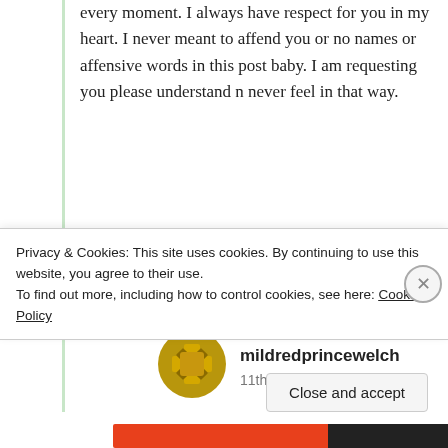every moment. I always have respect for you in my heart. I never meant to affend you or no names or affensive words in this post baby. I am requesting you please understand n never feel in that way.
★ Like
Log in to Reply
[Figure (screenshot): Nested comment block with avatar icon and username mildredprincewelch, dated 11th Jul 2021 at 7:27 am]
mildredprincewelch
11th Jul 2021 at 7:27 am
Privacy & Cookies: This site uses cookies. By continuing to use this website, you agree to their use.
To find out more, including how to control cookies, see here: Cookie Policy
Close and accept